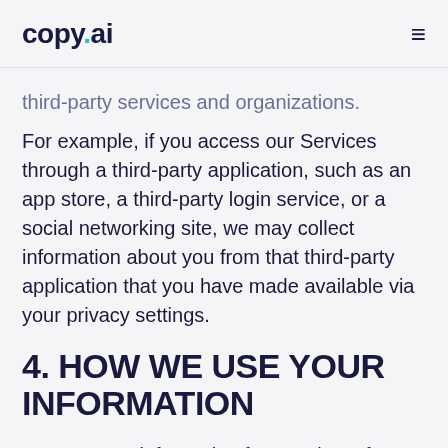copy.ai
third-party services and organizations. For example, if you access our Services through a third-party application, such as an app store, a third-party login service, or a social networking site, we may collect information about you from that third-party application that you have made available via your privacy settings.
4. HOW WE USE YOUR INFORMATION
We use your information for a variety of business purposes, including to provide our Services, for administrative purposes,